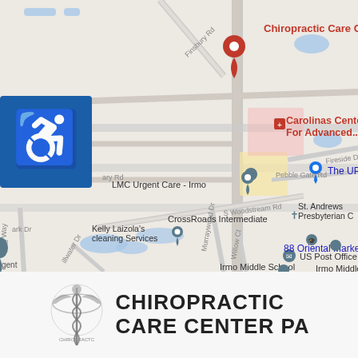[Figure (map): Google Maps screenshot showing the area around Chiropractic Care Center in Irmo, SC. Nearby landmarks labeled include LMC Urgent Care - Irmo, Kelly Laizola's cleaning Services, Carolinas Center For Advanced..., The UPS Store, CrossRoads Intermediate, St. Andrews Presbyterian C, US Post Office, 88 Oriental Market, Irmo Middle School, S Woodstream Rd, Finsbury Rd, Murraywood Dr, Pebble Gate Rd, Fireside D, Willow Ct. A blue wheelchair-accessible icon appears in the top-left corner. The Chiropractic Care Center is marked with a red pin and labeled in red text.]
[Figure (logo): Chiropractic Care Center PA logo: a caduceus/medical emblem on the left, and bold uppercase text reading CHIROPRACTIC CARE CENTER PA on the right.]